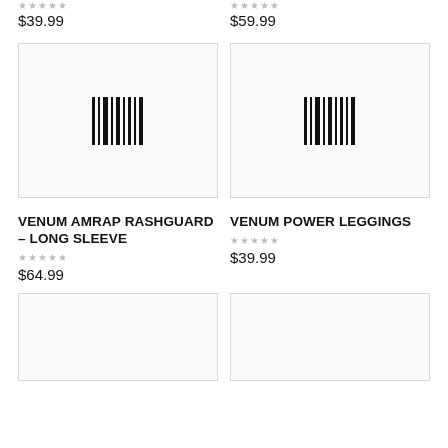★★★★★
$39.99
★★★★★
$59.99
[Figure (photo): Product image placeholder with barcode icon for Venum Amrap Rashguard - Long Sleeve]
[Figure (photo): Product image placeholder with barcode icon for Venum Power Leggings]
VENUM AMRAP RASHGUARD – LONG SLEEVE
★★★★★
$64.99
VENUM POWER LEGGINGS
★★★★★
$39.99
[Figure (photo): Product image placeholder (partial, bottom of page)]
[Figure (photo): Product image placeholder (partial, bottom of page)]